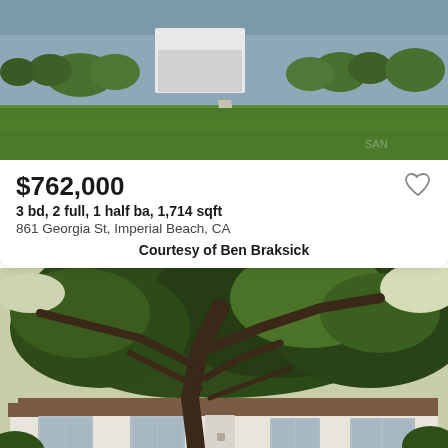[Figure (photo): Exterior front view of a single-story house with green lawn, shrubs, and a concrete walkway. Blue-gray siding visible with white garage area.]
$762,000
3 bd, 2 full, 1 half ba, 1,714 sqft
861 Georgia St, Imperial Beach, CA
Courtesy of Ben Braksick
[Figure (photo): Exterior front view of a white ranch-style house with a large sprawling oak tree dominating the foreground, green lawn, brown roof, and stone accents at base.]